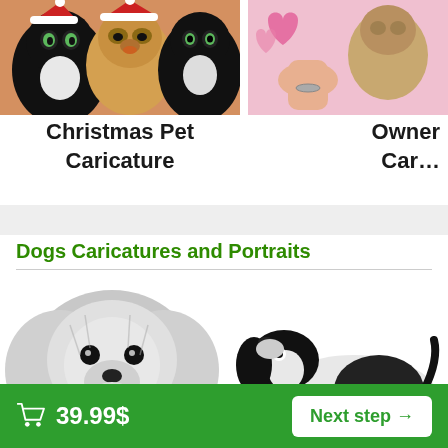[Figure (illustration): Christmas pet caricature illustration showing a black and white cat and a golden dog wearing Santa hats, colorful caricature style]
Christmas Pet Caricature
[Figure (illustration): Owner and pet caricature illustration showing a person hugging a dog with pink hearts, partially visible on right side]
Owner Cari
Dogs Caricatures and Portraits
[Figure (illustration): Black and white pencil portrait of a Shih Tzu dog looking forward]
[Figure (illustration): Black and white illustration of a Japanese Chin dog in profile view]
39.99$   Next step →